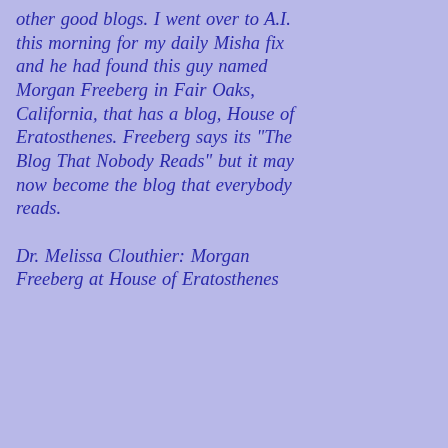other good blogs. I went over to A.I. this morning for my daily Misha fix and he had found this guy named Morgan Freeberg in Fair Oaks, California, that has a blog, House of Eratosthenes. Freeberg says its "The Blog That Nobody Reads" but it may now become the blog that everybody reads.

Dr. Melissa Clouthier: Morgan Freeberg at House of Eratosthenes